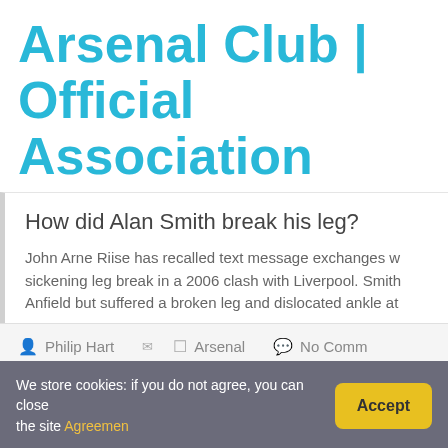Arsenal Club | Official Association
How did Alan Smith break his leg?
John Arne Riise has recalled text message exchanges w... sickening leg break in a 2006 clash with Liverpool. Smith... Anfield but suffered a broken leg and dislocated ankle at
Philip Hart   Arsenal   No Comm
← Quick Answer: How To Make Arsenal Arma 3?
We store cookies: if you do not agree, you can close the site Agreemen